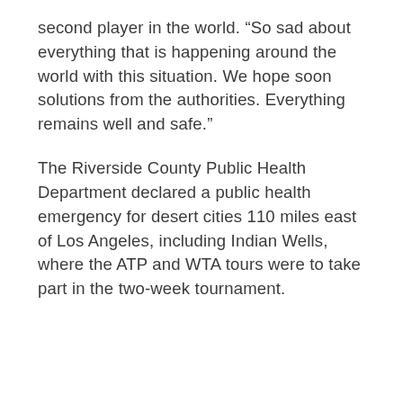second player in the world. “So sad about everything that is happening around the world with this situation. We hope soon solutions from the authorities. Everything remains well and safe.”
The Riverside County Public Health Department declared a public health emergency for desert cities 110 miles east of Los Angeles, including Indian Wells, where the ATP and WTA tours were to take part in the two-week tournament.